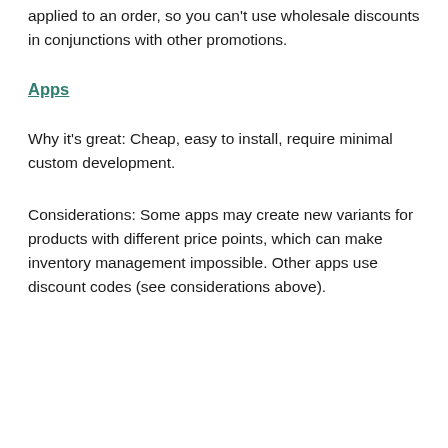applied to an order, so you can't use wholesale discounts in conjunctions with other promotions.
Apps
Why it's great: Cheap, easy to install, require minimal custom development.
Considerations: Some apps may create new variants for products with different price points, which can make inventory management impossible. Other apps use discount codes (see considerations above).